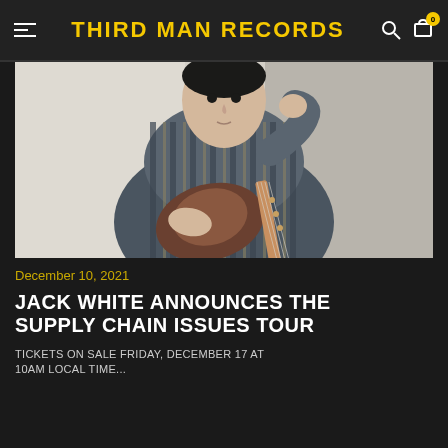THIRD MAN RECORDS
[Figure (photo): Man in a blue and white striped blazer holding an electric guitar, seated against a light background]
December 10, 2021
JACK WHITE ANNOUNCES THE SUPPLY CHAIN ISSUES TOUR
TICKETS ON SALE FRIDAY, DECEMBER 17 AT 10AM LOCAL TIME...